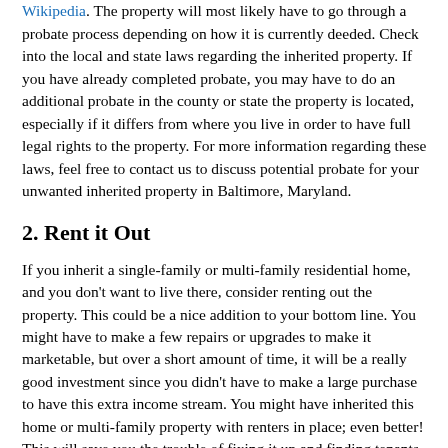of law and accepted as a valid public document, according to Wikipedia. The property will most likely have to go through a probate process depending on how it is currently deeded. Check into the local and state laws regarding the inherited property. If you have already completed probate, you may have to do an additional probate in the county or state the property is located, especially if it differs from where you live in order to have full legal rights to the property. For more information regarding these laws, feel free to contact us to discuss potential probate for your unwanted inherited property in Baltimore, Maryland.
2. Rent it Out
If you inherit a single-family or multi-family residential home, and you don't want to live there, consider renting out the property. This could be a nice addition to your bottom line. You might have to make a few repairs or upgrades to make it marketable, but over a short amount of time, it will be a really good investment since you didn't have to make a large purchase to have this extra income stream. You might have inherited this home or multi-family property with renters in place; even better! This will save you the trouble of fixing it up and finding tenants.
If you inherit commercial property and you don't own a business or